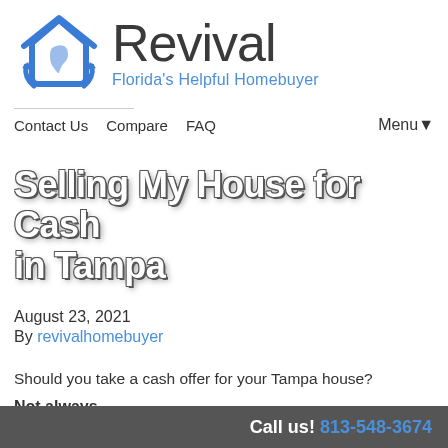[Figure (logo): Revival Florida's Helpful Homebuyer logo with house/Florida icon in blue and gray text]
Contact Us   Compare   FAQ   Menu▼
Selling My House for Cash in Tampa
August 23, 2021
By revivalhomebuyer
Should you take a cash offer for your Tampa house?
Not always.
Call us! 813-548-3674